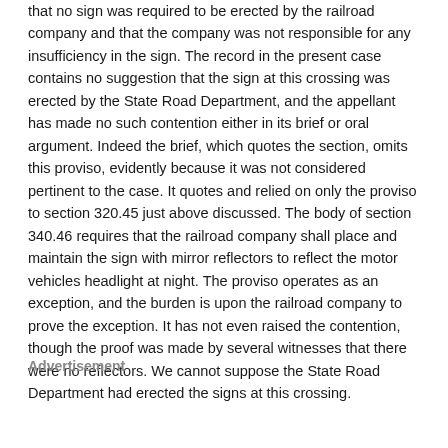that no sign was required to be erected by the railroad company and that the company was not responsible for any insufficiency in the sign. The record in the present case contains no suggestion that the sign at this crossing was erected by the State Road Department, and the appellant has made no such contention either in its brief or oral argument. Indeed the brief, which quotes the section, omits this proviso, evidently because it was not considered pertinent to the case. It quotes and relied on only the proviso to section 320.45 just above discussed. The body of section 340.46 requires that the railroad company shall place and maintain the sign with mirror reflectors to reflect the motor vehicles headlight at night. The proviso operates as an exception, and the burden is upon the railroad company to prove the exception. It has not even raised the contention, though the proof was made by several witnesses that there were no reflectors. We cannot suppose the State Road Department had erected the signs at this crossing.
Advertisement